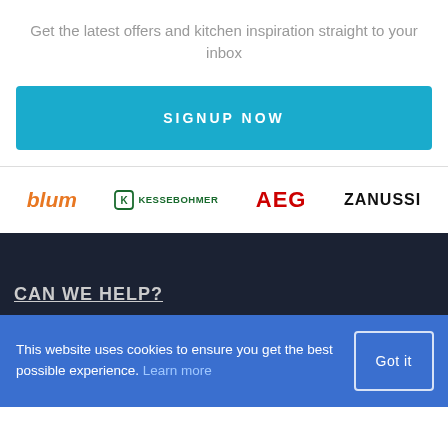Get the latest offers and kitchen inspiration straight to your inbox
[Figure (other): SIGNUP NOW button — large cyan/teal rectangular button with white uppercase text]
[Figure (other): Brand logos row: blum (orange italic), KESSEBOHMER (green with icon), AEG (red bold), ZANUSSI (black bold)]
CAN WE HELP?
This website uses cookies to ensure you get the best possible experience. Learn more
Got it